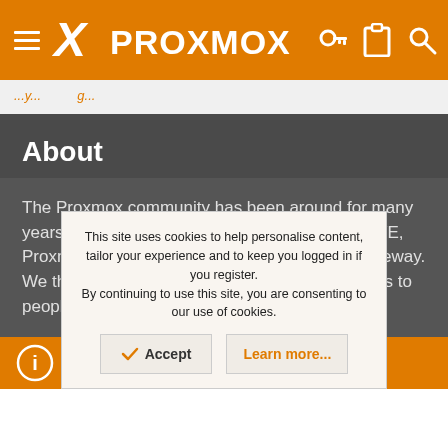Proxmox navigation bar with hamburger menu, logo, key icon, clipboard icon, search icon
...y...g...
About
The Proxmox community has been around for many years and offers help and support for Proxmox VE, Proxmox Backup Server, and Proxmox Mail Gateway.
We think our community is one of the best thanks to people like you!
This site uses cookies to help personalise content, tailor your experience and to keep you logged in if you register.
By continuing to use this site, you are consenting to our use of cookies.